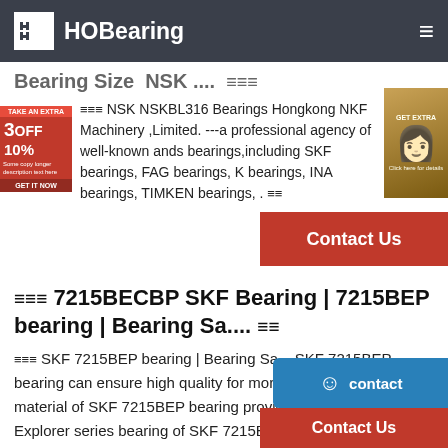HOBearing
Bearing Size NSK .... ≡≡≡
≡≡≡ NSK NSKBL316 Bearings Hongkong NKF Machinery ,Limited. ---a professional agency of well-known ands bearings,including SKF bearings, FAG bearings, K bearings, INA bearings, TIMKEN bearings, . ≡≡
≡≡≡ 7215BECBP SKF Bearing | 7215BEP bearing | Bearing Sa.... ≡≡
≡≡≡ SKF 7215BEP bearing | Bearing Sa... SKF 7215BEP bearing can ensure high quality for more than 80% raw material of SKF 7215BEP bearing provided by the steel plant. Explorer series bearing of SKF 7215BEP bearing are better than any brand bearings currently in bearing performance , lifetime, design, and the use of performance. ≡≡≡